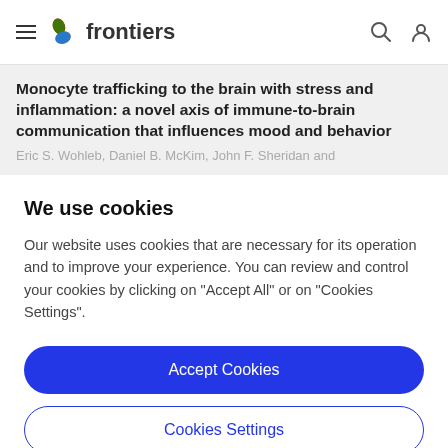frontiers
Monocyte trafficking to the brain with stress and inflammation: a novel axis of immune-to-brain communication that influences mood and behavior
Eric S. Wohleb, Daniel B. McKim, John F. Sheridan and
We use cookies
Our website uses cookies that are necessary for its operation and to improve your experience. You can review and control your cookies by clicking on "Accept All" or on "Cookies Settings".
Accept Cookies
Cookies Settings